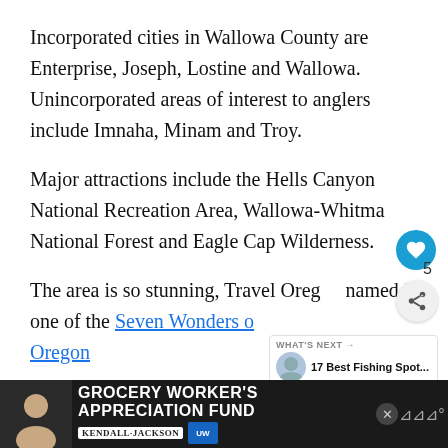Incorporated cities in Wallowa County are Enterprise, Joseph, Lostine and Wallowa. Unincorporated areas of interest to anglers include Imnaha, Minam and Troy.
Major attractions include the Hells Canyon National Recreation Area, Wallowa-Whitman National Forest and Eagle Cap Wilderness.
The area is so stunning, Travel Oregon named it one of the Seven Wonders of Oregon
[Figure (screenshot): Ad banner: Grocery Worker's Appreciation Fund with Kendall-Jackson and United Way logos]